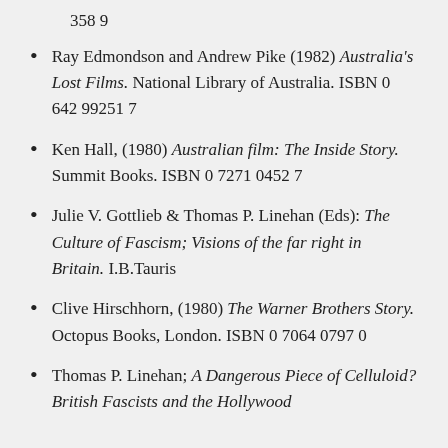358 9
Ray Edmondson and Andrew Pike (1982) Australia's Lost Films. National Library of Australia. ISBN 0 642 99251 7
Ken Hall, (1980) Australian film: The Inside Story. Summit Books. ISBN 0 7271 0452 7
Julie V. Gottlieb & Thomas P. Linehan (Eds): The Culture of Fascism; Visions of the far right in Britain. I.B.Tauris
Clive Hirschhorn, (1980) The Warner Brothers Story. Octopus Books, London. ISBN 0 7064 0797 0
Thomas P. Linehan; A Dangerous Piece of Celluloid? British Fascists and the Hollywood